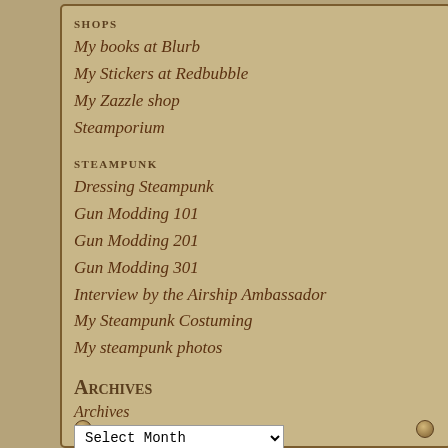SHOPS
My books at Blurb
My Stickers at Redbubble
My Zazzle shop
Steamporium
STEAMPUNK
Dressing Steampunk
Gun Modding 101
Gun Modding 201
Gun Modding 301
Interview by the Airship Ambassador
My Steampunk Costuming
My steampunk photos
Archives
Archives
Select Month
costuming halfway.Â  In addition to the s doing the party again on Monday in diff Gadget from Rescue Rangers.Â  While